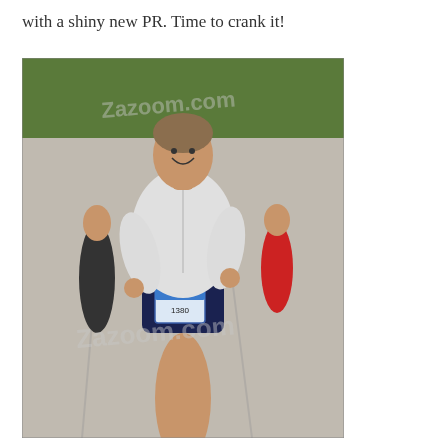with a shiny new PR. Time to crank it!
[Figure (photo): A woman runner wearing a white zip-up jacket and dark blue shorts with a race bib, smiling while running on a road in a race. Other runners are visible in the background. Watermark 'Zazoom.com' overlaid on the image.]